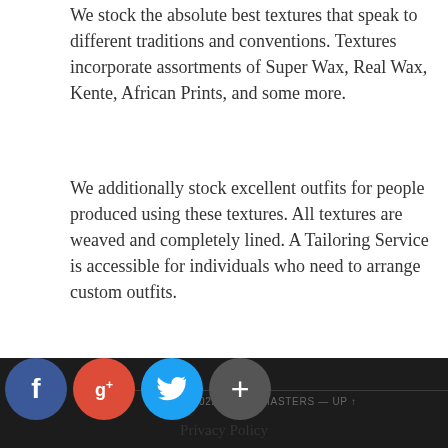We stock the absolute best textures that speak to different traditions and conventions. Textures incorporate assortments of Super Wax, Real Wax, Kente, African Prints, and some more.
We additionally stock excellent outfits for people produced using these textures. All textures are weaved and completely lined. A Tailoring Service is accessible for individuals who need to arrange custom outfits.
[Figure (other): Social media share buttons: Facebook (blue circle with f), Google+ (red circle with g+), Twitter (light blue circle with bird icon), Add/Plus (dark circle with +)]
© 2022 NEWEBMASTERS — UP ↑
Privacy Policy